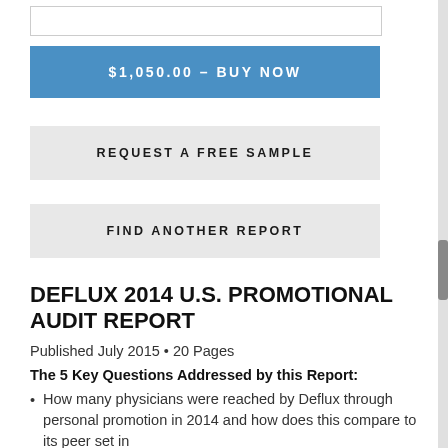[Figure (other): Empty white input/text box with gray border]
$1,050.00 – BUY NOW
REQUEST A FREE SAMPLE
FIND ANOTHER REPORT
DEFLUX 2014 U.S. PROMOTIONAL AUDIT REPORT
Published July 2015 • 20 Pages
The 5 Key Questions Addressed by this Report:
How many physicians were reached by Deflux through personal promotion in 2014 and how does this compare to its peer set in